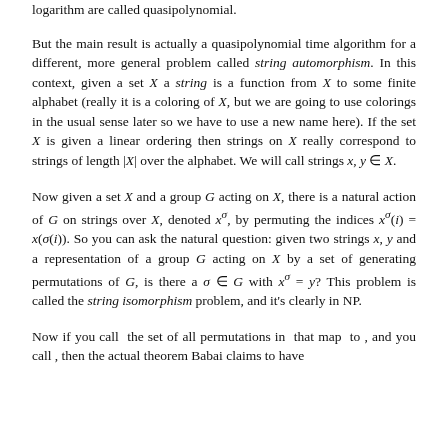logarithm are called quasipolynomial.
But the main result is actually a quasipolynomial time algorithm for a different, more general problem called string automorphism. In this context, given a set X a string is a function from X to some finite alphabet (really it is a coloring of X, but we are going to use colorings in the usual sense later so we have to use a new name here). If the set X is given a linear ordering then strings on X really correspond to strings of length |X| over the alphabet. We will call strings x, y ∈ X.
Now given a set X and a group G acting on X, there is a natural action of G on strings over X, denoted x^σ, by permuting the indices x^σ(i) = x(σ(i)). So you can ask the natural question: given two strings x, y and a representation of a group G acting on X by a set of generating permutations of G, is there a σ ∈ G with x^σ = y? This problem is called the string isomorphism problem, and it's clearly in NP.
Now if you call  the set of all permutations in  that map  to , and you call , then the actual theorem Babai claims to have